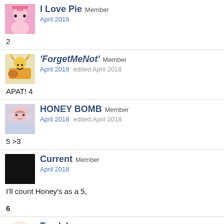I Love Pie Member
April 2018
2
'ForgetMeNot' Member
April 2018  edited April 2018
APAT! 4
HONEY BOMB Member
April 2018  edited April 2018
5 >3
Current Member
April 2018
I'll count Honey's as a 5,

6
Tyndale Member